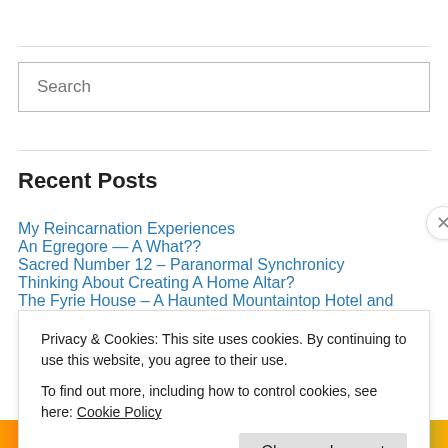Search
Recent Posts
My Reincarnation Experiences
An Egregore — A What??
Sacred Number 12 – Paranormal Synchronicy
Thinking About Creating A Home Altar?
The Fyrie House – A Haunted Mountaintop Hotel and Resort
Privacy & Cookies: This site uses cookies. By continuing to use this website, you agree to their use. To find out more, including how to control cookies, see here: Cookie Policy
Close and accept